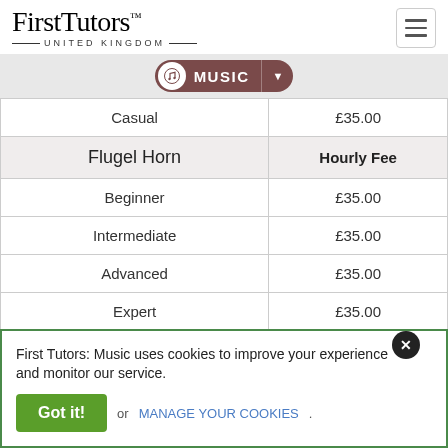[Figure (logo): First Tutors United Kingdom logo]
[Figure (other): Music subject selector pill with music note icon and dropdown arrow]
|  | Hourly Fee |
| --- | --- |
| Casual | £35.00 |
| Flugel Horn | Hourly Fee |
| Beginner | £35.00 |
| Intermediate | £35.00 |
| Advanced | £35.00 |
| Expert | £35.00 |
| Casual | £35.00 |
First Tutors: Music uses cookies to improve your experience and monitor our service.
Got it! or MANAGE YOUR COOKIES.